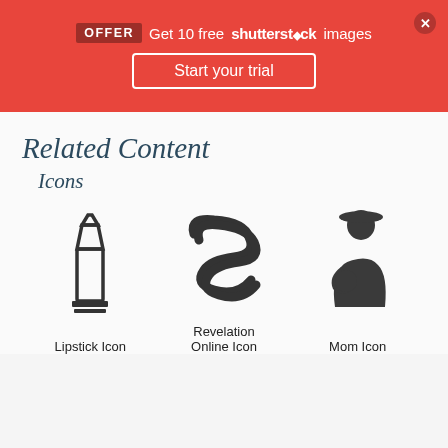OFFER Get 10 free shutterstock images
Start your trial
Related Content
Icons
[Figure (illustration): Lipstick icon outline drawing]
Lipstick Icon
[Figure (illustration): Revelation Online icon - stylized overlapping S-shape lines]
Revelation Online Icon
[Figure (illustration): Mom icon silhouette - woman holding baby]
Mom Icon